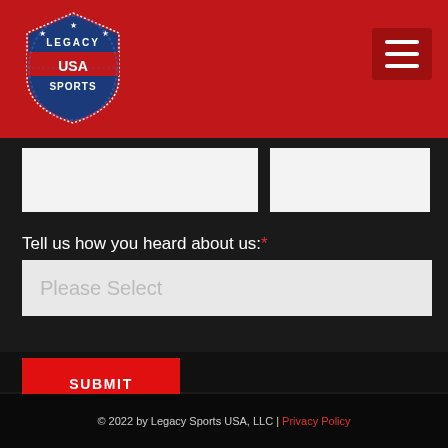Legacy Sports USA - navigation header with logo and hamburger menu
[Figure (logo): Legacy Sports USA shield/badge logo with stars, red white and blue colors]
Tell us how you heard about us:*
Please Select
SUBMIT
[Figure (illustration): Facebook and Instagram social media icons in white]
© 2022 by Legacy Sports USA, LLC | Privacy Policy